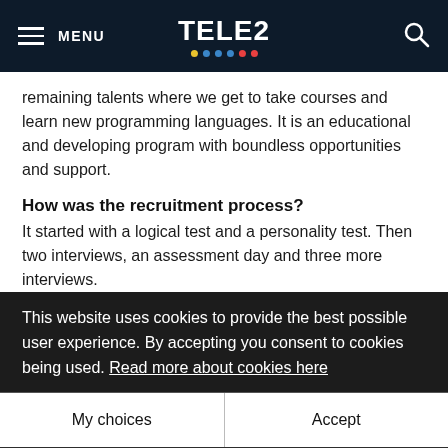MENU | TELE2 | [search]
remaining talents where we get to take courses and learn new programming languages. It is an educational and developing program with boundless opportunities and support.
How was the recruitment process?
It started with a logical test and a personality test. Then two interviews, an assessment day and three more interviews.
Due to covid, all of my interviews were done remotely. Everyone was incredibly nice and managed to calm my nerves. It was a long but fair process.
This website uses cookies to provide the best possible user experience. By accepting you consent to cookies being used. Read more about cookies here
Why [did you choose] the program?
[after graduating. It will be ...d help and you ...nagers and ...]
My choices
Accept